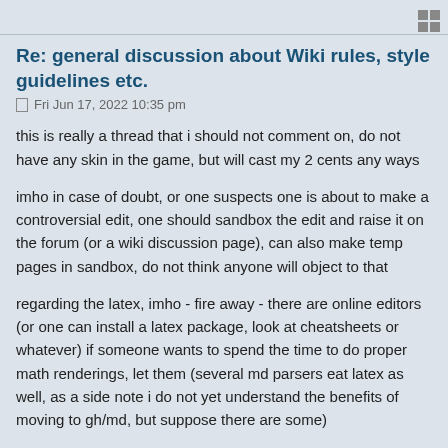Re: general discussion about Wiki rules, style guidelines etc.
Fri Jun 17, 2022 10:35 pm
this is really a thread that i should not comment on, do not have any skin in the game, but will cast my 2 cents any ways
imho in case of doubt, or one suspects one is about to make a controversial edit, one should sandbox the edit and raise it on the forum (or a wiki discussion page), can also make temp pages in sandbox, do not think anyone will object to that
regarding the latex, imho - fire away - there are online editors (or one can install a latex package, look at cheatsheets or whatever) if someone wants to spend the time to do proper math renderings, let them (several md parsers eat latex as well, as a side note i do not yet understand the benefits of moving to gh/md, but suppose there are some)
having the wb prefix is great for discoverability for scripting, i.e. just by looking at the page name one knows where to look in python to get the same (if it is available).
however it sucks for wiki discoverability since the wiki search function, or